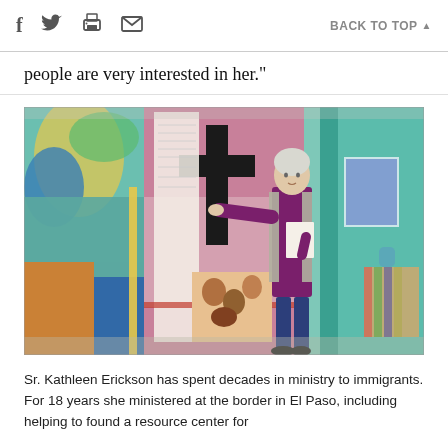f  [twitter]  [print]  [mail]    BACK TO TOP ▲
people are very interested in her."
[Figure (photo): Sr. Kathleen Erickson stands in a colorful room with murals and artwork on the walls, pointing at a large cross painted on a pink wall panel. She holds papers in one hand and wears a grey vest over a purple shirt with blue jeans.]
Sr. Kathleen Erickson has spent decades in ministry to immigrants. For 18 years she ministered at the border in El Paso, including helping to found a resource center for